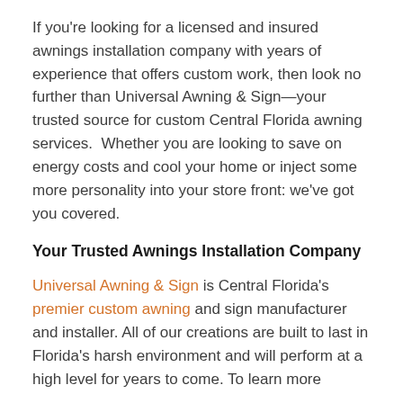If you're looking for a licensed and insured awnings installation company with years of experience that offers custom work, then look no further than Universal Awning & Sign—your trusted source for custom Central Florida awning services.  Whether you are looking to save on energy costs and cool your home or inject some more personality into your store front: we've got you covered.
Your Trusted Awnings Installation Company
Universal Awning & Sign is Central Florida's premier custom awning and sign manufacturer and installer. All of our creations are built to last in Florida's harsh environment and will perform at a high level for years to come. To learn more